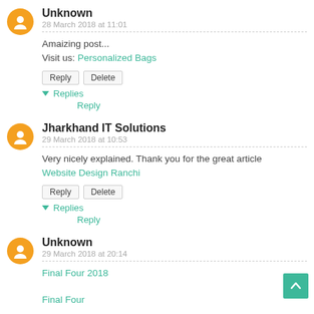Unknown
28 March 2018 at 11:01
Amaizing post...
Visit us: Personalized Bags
Reply | Delete
▼ Replies
Reply
Jharkhand IT Solutions
29 March 2018 at 10:53
Very nicely explained. Thank you for the great article
Website Design Ranchi
Reply | Delete
▼ Replies
Reply
Unknown
29 March 2018 at 20:14
Final Four 2018
Final Four